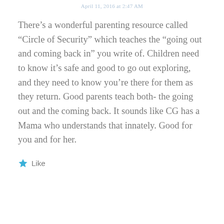April 11, 2016 at 2:47 AM
There’s a wonderful parenting resource called “Circle of Security” which teaches the “going out and coming back in” you write of. Children need to know it’s safe and good to go out exploring, and they need to know you’re there for them as they return. Good parents teach both- the going out and the coming back. It sounds like CG has a Mama who understands that innately. Good for you and for her.
Like